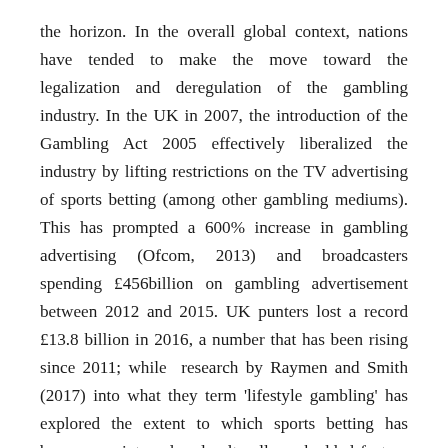the horizon. In the overall global context, nations have tended to make the move toward the legalization and deregulation of the gambling industry. In the UK in 2007, the introduction of the Gambling Act 2005 effectively liberalized the industry by lifting restrictions on the TV advertising of sports betting (among other gambling mediums). This has prompted a 600% increase in gambling advertising (Ofcom, 2013) and broadcasters spending £456billion on gambling advertisement between 2012 and 2015. UK punters lost a record £13.8 billion in 2016, a number that has been rising since 2011; while research by Raymen and Smith (2017) into what they term 'lifestyle gambling' has explored the extent to which sports betting has become an integral and culturally embedded feature of existing social spheres and leisure arenas such as the Night-Time Economy (Donovan et al., 2017). A study by...